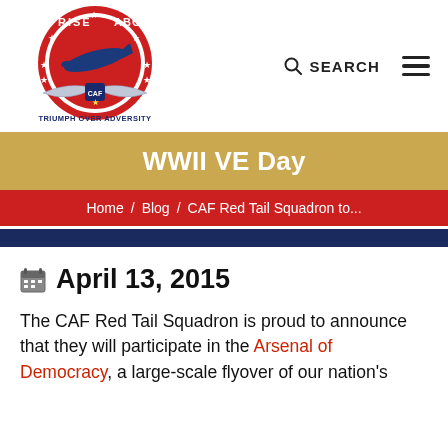Rise Above — Triumph Over Adversity (CAF logo) | SEARCH ☰
WWII VE Day
Home / Blog / CAF Red Tail Squadron to...
April 13, 2015
The CAF Red Tail Squadron is proud to announce that they will participate in the Arsenal of Democracy, a large-scale flyover of our nation's Capitol to mark the 70th anniversary of Victory in...